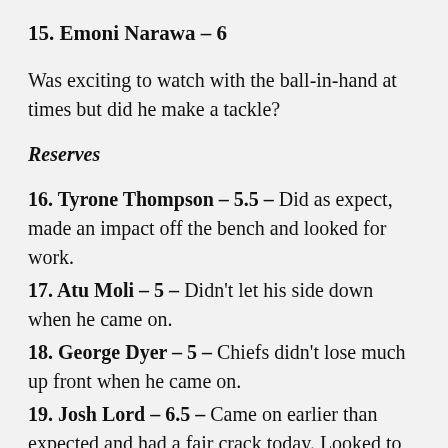15. Emoni Narawa – 6
Was exciting to watch with the ball-in-hand at times but did he make a tackle?
Reserves
16. Tyrone Thompson – 5.5 – Did as expect, made an impact off the bench and looked for work.
17. Atu Moli – 5 – Didn't let his side down when he came on.
18. George Dyer – 5 – Chiefs didn't lose much up front when he came on.
19. Josh Lord – 6.5 – Came on earlier than expected and had a fair crack today. Looked to get involved